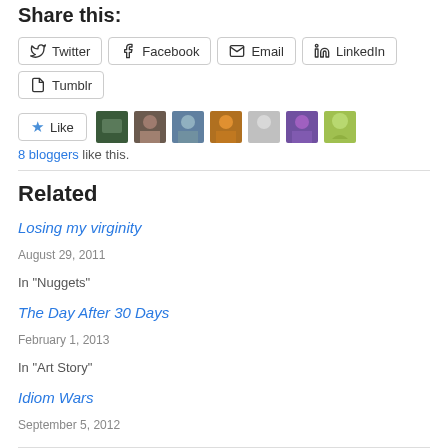Share this:
Twitter | Facebook | Email | LinkedIn | Tumblr
Like | 8 bloggers like this.
Related
Losing my virginity
August 29, 2011
In "Nuggets"
The Day After 30 Days
February 1, 2013
In "Art Story"
Idiom Wars
September 5, 2012
In "Rants"